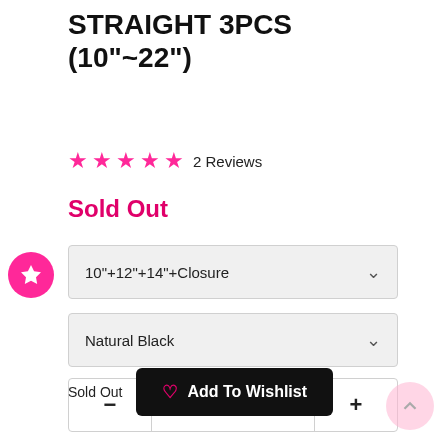STRAIGHT 3PCS (10"~22")
★★★★★ 2 Reviews
Sold Out
10"+12"+14"+Closure
Natural Black
1
Sold Out  Add To Wishlist